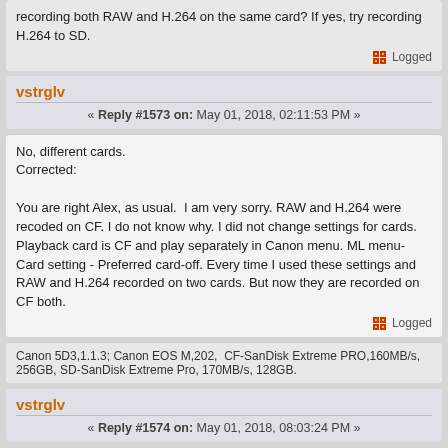recording both RAW and H.264 on the same card? If yes, try recording H.264 to SD.
Logged
vstrglv
« Reply #1573 on: May 01, 2018, 02:11:53 PM »
No, different cards.
Corrected:

You are right Alex, as usual.  I am very sorry. RAW and H.264 were recoded on CF. I do not know why. I did not change settings for cards. Playback card is CF and play separately in Canon menu. ML menu-Card setting - Preferred card-off. Every time I used these settings and RAW and H.264 recorded on two cards. But now they are recorded on CF both.
Logged
Canon 5D3,1.1.3; Canon EOS M,202,  CF-SanDisk Extreme PRO,160MB/s, 256GB, SD-SanDisk Extreme Pro, 170MB/s, 128GB.
vstrglv
« Reply #1574 on: May 01, 2018, 08:03:24 PM »